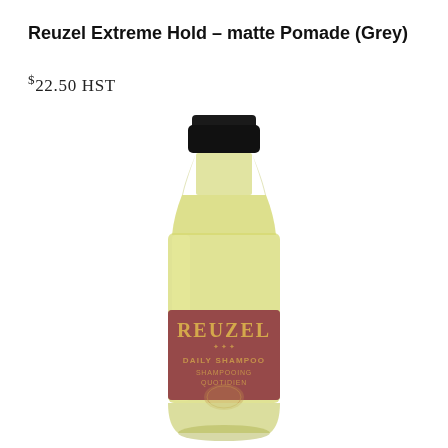Reuzel Extreme Hold – matte Pomade (Grey)
$22.50 HST
[Figure (photo): A bottle of Reuzel Daily Shampoo / Shampooing Quotidien in a tall clear glass-style bottle with a black cap. The bottle contains a light yellow/golden liquid. The label is a warm reddish-brown color with gold text reading REUZEL at the top and DAILY SHAMPOO / SHAMPOOING QUOTIDIEN below, along with decorative imagery.]